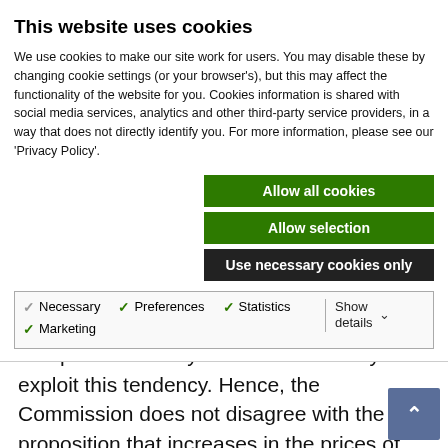This website uses cookies
We use cookies to make our site work for users. You may disable these by changing cookie settings (or your browser's), but this may affect the functionality of the website for you. Cookies information is shared with social media services, analytics and other third-party service providers, in a way that does not directly identify you. For more information, please see our 'Privacy Policy'.
Allow all cookies
Allow selection
Use necessary cookies only
Necessary  Preferences  Statistics  Marketing  Show details
does have an effect on drinking patterns, the question is only about the best way to exploit this tendency. Hence, the Commission does not disagree with the proposition that increases in the prices of alcoholic drinks could, other things be equal, be expected to lead to reduced demand f...